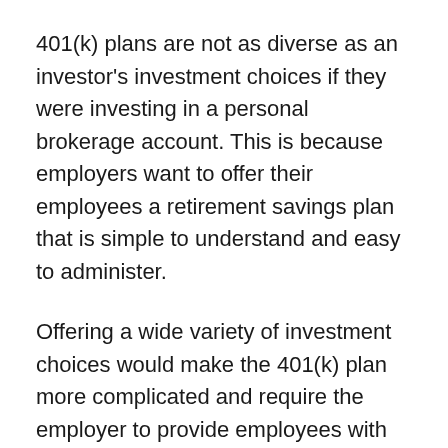401(k) plans are not as diverse as an investor's investment choices if they were investing in a personal brokerage account. This is because employers want to offer their employees a retirement savings plan that is simple to understand and easy to administer.
Offering a wide variety of investment choices would make the 401(k) plan more complicated and require the employer to provide employees with more education about investing. Most employers are not willing to make this commitment, and as a result, most 401(k) plans offer a limited selection of